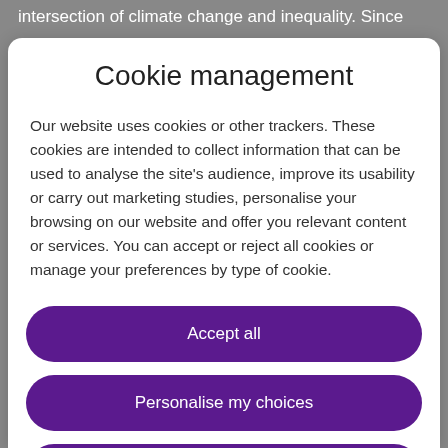intersection of climate change and inequality. Since
Cookie management
Our website uses cookies or other trackers. These cookies are intended to collect information that can be used to analyse the site's audience, improve its usability or carry out marketing studies, personalise your browsing on our website and offer you relevant content or services. You can accept or reject all cookies or manage your preferences by type of cookie.
Accept all
Personalise my choices
Reject all